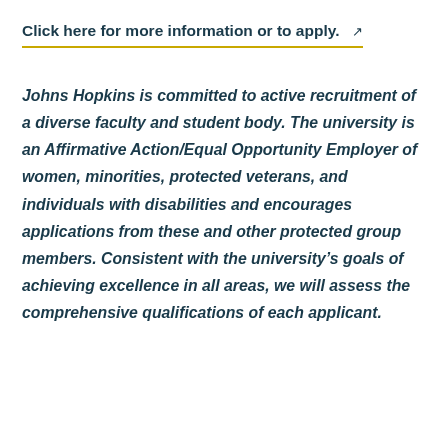Click here for more information or to apply. ↗
Johns Hopkins is committed to active recruitment of a diverse faculty and student body. The university is an Affirmative Action/Equal Opportunity Employer of women, minorities, protected veterans, and individuals with disabilities and encourages applications from these and other protected group members. Consistent with the university's goals of achieving excellence in all areas, we will assess the comprehensive qualifications of each applicant.